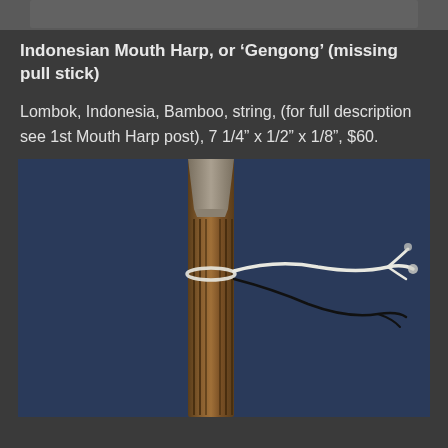[Figure (photo): Top portion of a mouth harp (Gengong) instrument, cropped, shown against dark background — visible at very top of page.]
Indonesian Mouth Harp, or 'Gengong' (missing pull stick)
Lombok, Indonesia, Bamboo, string, (for full description see 1st Mouth Harp post), 7 1/4" x 1/2" x 1/8", $60.
[Figure (photo): Close-up photograph of an Indonesian bamboo mouth harp (Gengong) laid on a dark blue fabric background. The instrument is a flat bamboo stick with longitudinal slits cut along its length forming a tongue/reed. A white string and a black string are tied around the instrument near the top, with the strings extending to the right side of the frame.]